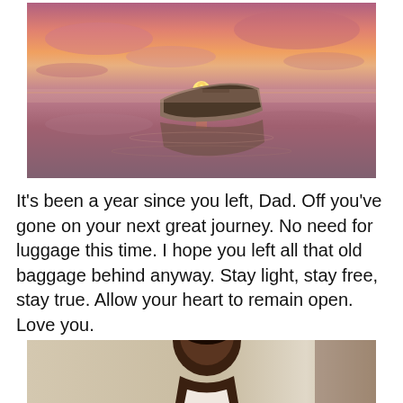[Figure (photo): A dramatic sunset photograph showing a wooden rowboat resting on still water that reflects pink and orange clouds. The sun is setting on the horizon, casting warm pink, purple, and orange hues across the sky and water.]
It's been a year since you left, Dad. Off you've gone on your next great journey. No need for luggage this time. I hope you left all that old baggage behind anyway. Stay light, stay free, stay true. Allow your heart to remain open. Love you.
[Figure (photo): A vintage photograph showing a young Black man/boy standing indoors, partially visible at the bottom of the page.]